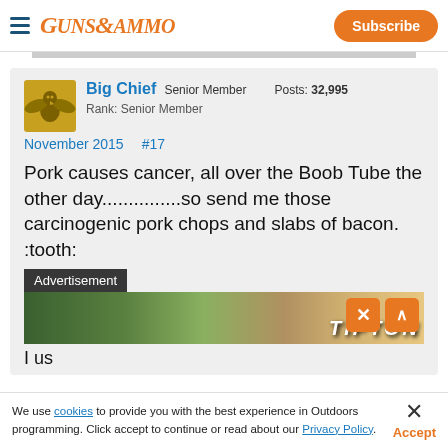Guns & Ammo — Subscribe
Big Chief  Senior Member   Posts: 32,995
Rank: Senior Member
November 2015    #17
Pork causes cancer, all over the Boob Tube the other day...............so send me those carcinogenic pork chops and slabs of bacon. :tooth:
[Figure (screenshot): Advertisement overlay with dark label bar and outdoor/rifle image (Tipton branding partially visible), with orange close and scroll-up buttons]
I us...
We use cookies to provide you with the best experience in Outdoors programming. Click accept to continue or read about our Privacy Policy.